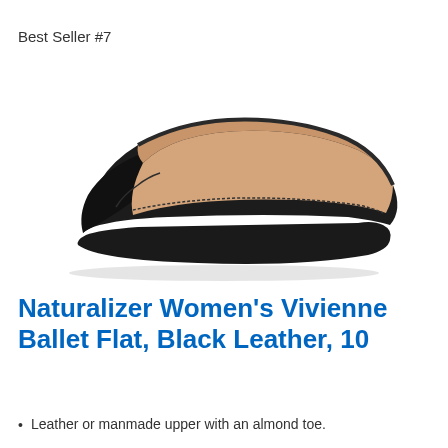Best Seller #7
[Figure (photo): Black leather ballet flat shoe (Naturalizer Women's Vivienne) on white background, showing side profile with tan leather interior lining visible and low rubber sole.]
Naturalizer Women's Vivienne Ballet Flat, Black Leather, 10
Leather or manmade upper with an almond toe.